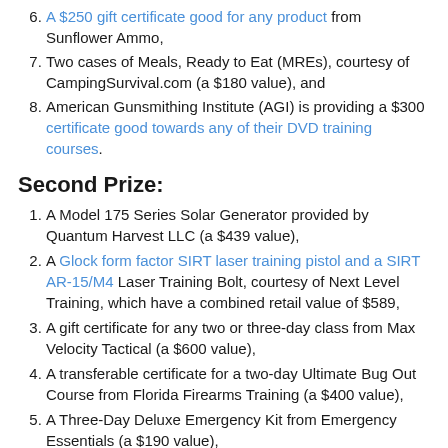A $250 gift certificate good for any product from Sunflower Ammo,
Two cases of Meals, Ready to Eat (MREs), courtesy of CampingSurvival.com (a $180 value), and
American Gunsmithing Institute (AGI) is providing a $300 certificate good towards any of their DVD training courses.
Second Prize:
A Model 175 Series Solar Generator provided by Quantum Harvest LLC (a $439 value),
A Glock form factor SIRT laser training pistol and a SIRT AR-15/M4 Laser Training Bolt, courtesy of Next Level Training, which have a combined retail value of $589,
A gift certificate for any two or three-day class from Max Velocity Tactical (a $600 value),
A transferable certificate for a two-day Ultimate Bug Out Course from Florida Firearms Training (a $400 value),
A Three-Day Deluxe Emergency Kit from Emergency Essentials (a $190 value),
A $200 gift certificate good towards any books published by PrepperPress.com,
RepackBox is providing a $300 gift certificate to their site.
Third Prize: